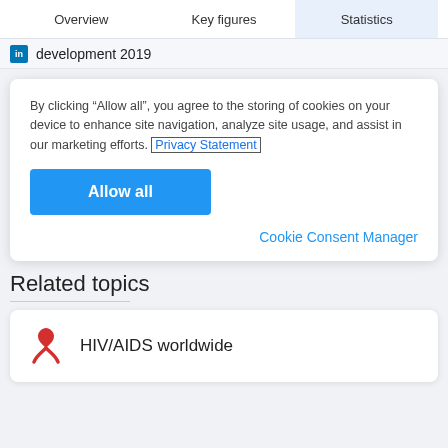Overview | Key figures | Statistics
development 2019
By clicking “Allow all”, you agree to the storing of cookies on your device to enhance site navigation, analyze site usage, and assist in our marketing efforts. Privacy Statement
Allow all
Cookie Consent Manager
Related topics
HIV/AIDS worldwide